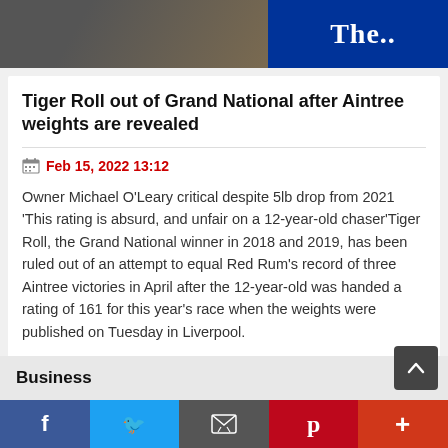[Figure (photo): Newspaper article screenshot showing a photo of a horse race at the top with The Guardian logo overlay, article title, date, and body text]
Tiger Roll out of Grand National after Aintree weights are revealed
Feb 15, 2022 13:12
Owner Michael O'Leary critical despite 5lb drop from 2021 'This rating is absurd, and unfair on a 12-year-old chaser'Tiger Roll, the Grand National winner in 2018 and 2019, has been ruled out of an attempt to equal Red Rum's record of three Aintree victories in April after the 12-year-old was handed a rating of 161 for this year's race when the weights were published on Tuesday in Liverpool.
Business
f  t  [email icon]  p  +